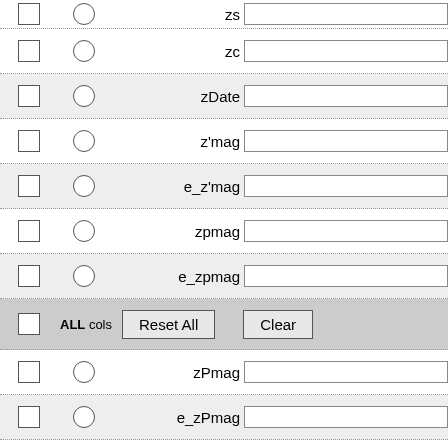[Figure (screenshot): A UI form showing rows of checkboxes, radio buttons, field labels (zs, zc, zDate, z'mag, e_z'mag, zpmag, e_zpmag, zPmag, e_zPmag, zPrad, e_zPrad, zoRA, zoDE), text input fields, a toolbar row with 'ALL cols', 'Reset All', and 'Clear' buttons.]